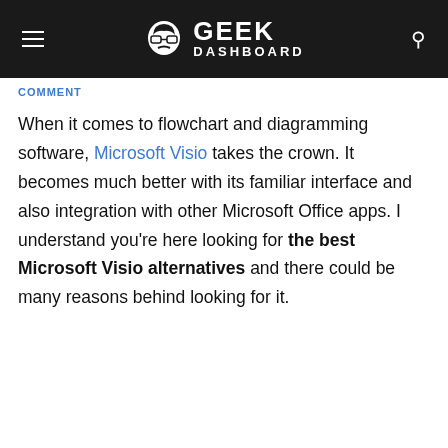GEEK DASHBOARD
COMMENT
When it comes to flowchart and diagramming software, Microsoft Visio takes the crown. It becomes much better with its familiar interface and also integration with other Microsoft Office apps. I understand you're here looking for the best Microsoft Visio alternatives and there could be many reasons behind looking for it.